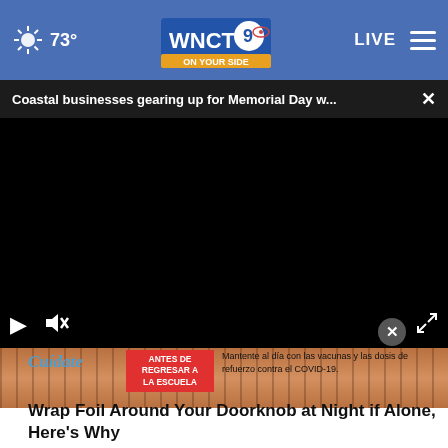73° WNCT 9 ON YOUR SIDE — LIVE
Coastal businesses gearing up for Memorial Day w...
[Figure (screenshot): Black video player with play button, mute icon, and expand icon controls visible at bottom]
[Figure (photo): Partial view of bronze/copper metallic rods or tubes, warm toned background]
ANTES DE REGRESAR A LA ESCUELA
Mantente al día con las vacunas y las dosis de refuerzo contra el COVID-19.
Wrap Foil Around Your Doorknob at Night if Alone, Here's Why